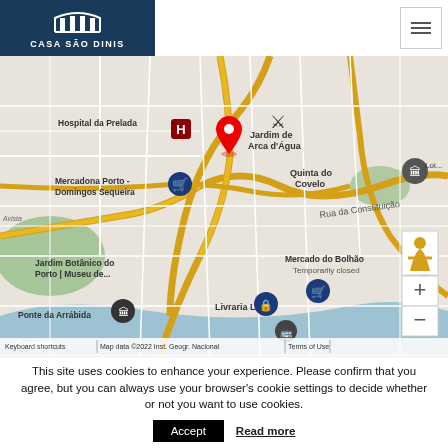CASA SÃO DINIS
[Figure (map): Google Maps screenshot showing Porto area including Hospital da Prelada, Jardim de Arca d'Água, Quinta do Covelo, Mercadona Porto - Domingos Sequeira, Jardim Botânico do Porto | Museu de..., Ponte da Arrábida, Livraria Lello, Mercado do Bolhão (Temporarily closed). Map data ©2022 Inst. Geogr. Nacional]
This site uses cookies to enhance your experience. Please confirm that you agree, but you can always use your browser's cookie settings to decide whether or not you want to use cookies.
Accept
Read more